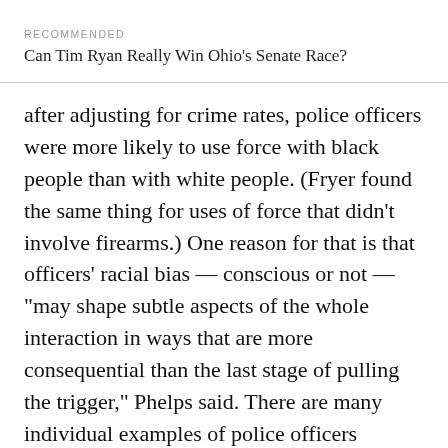RECOMMENDED
Can Tim Ryan Really Win Ohio’s Senate Race?
after adjusting for crime rates, police officers were more likely to use force with black people than with white people. (Fryer found the same thing for uses of force that didn’t involve firearms.) One reason for that is that officers’ racial bias — conscious or not — “may shape subtle aspects of the whole interaction in ways that are more consequential than the last stage of pulling the trigger,” Phelps said. There are many individual examples of police officers expressing explicit racism in emails. These add up to less than comprehensive statistics about the extent of racism among American police officers but are perhaps more than just a series of anecdotes, especially considering that other officers who are racist may never have put it in writing.